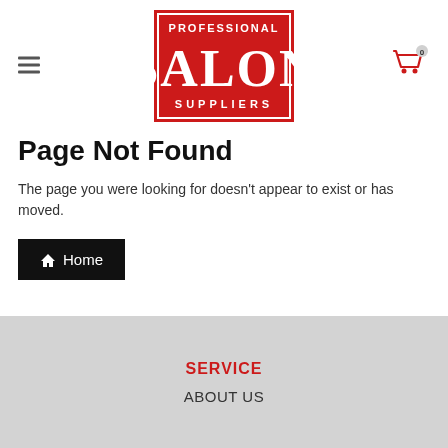[Figure (logo): Professional Salon Suppliers logo: red rectangle with white border, text PROFESSIONAL at top, large SALON in center, SUPPLIERS at bottom]
Page Not Found
The page you were looking for doesn't appear to exist or has moved.
Home
SERVICE
ABOUT US